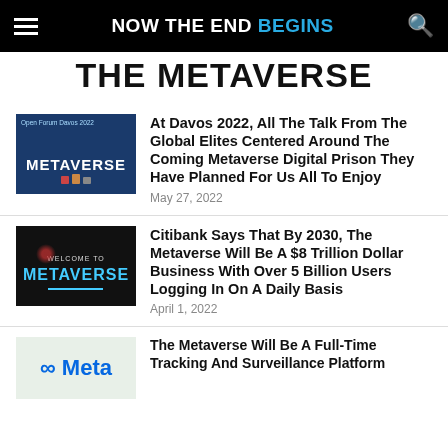NOW THE END BEGINS
THE METAVERSE
At Davos 2022, All The Talk From The Global Elites Centered Around The Coming Metaverse Digital Prison They Have Planned For Us All To Enjoy — May 27, 2022
Citibank Says That By 2030, The Metaverse Will Be A $8 Trillion Dollar Business With Over 5 Billion Users Logging In On A Daily Basis — April 1, 2022
The Metaverse Will Be A Full-Time Tracking And Surveillance Platform